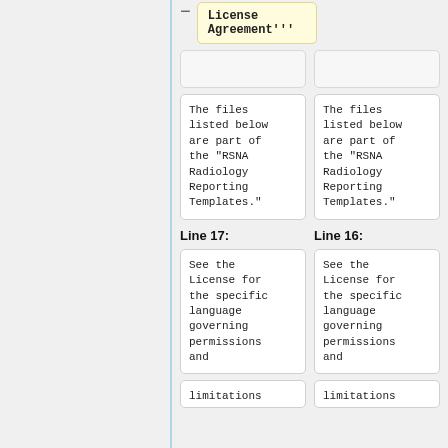License Agreement'''
The files listed below are part of the "RSNA Radiology Reporting Templates."
The files listed below are part of the "RSNA Radiology Reporting Templates."
Line 17:
Line 16:
See the License for the specific language governing permissions and
See the License for the specific language governing permissions and
limitations
limitations